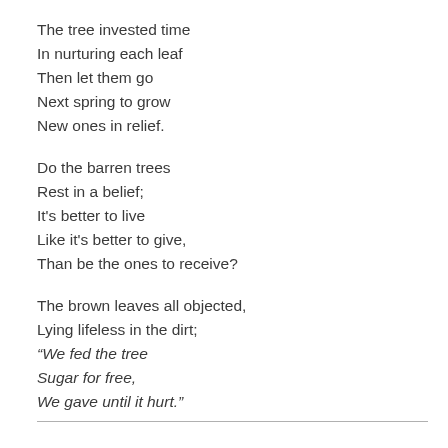The tree invested time
In nurturing each leaf
Then let them go
Next spring to grow
New ones in relief.
Do the barren trees
Rest in a belief;
It's better to live
Like it's better to give,
Than be the ones to receive?
The brown leaves all objected,
Lying lifeless in the dirt;
“We fed the tree
Sugar for free,
We gave until it hurt.”